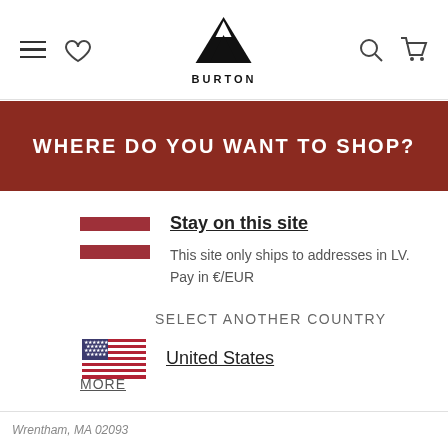Burton (logo) - navigation header with hamburger menu, wishlist heart, search, and cart icons
WHERE DO YOU WANT TO SHOP?
Stay on this site
This site only ships to addresses in LV.
Pay in €/EUR
SELECT ANOTHER COUNTRY
United States
MORE
Wrentham, MA 02093